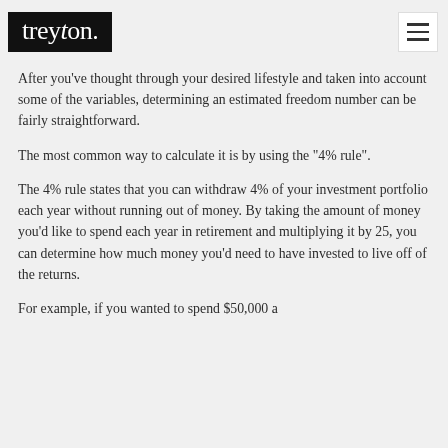treyton.
After you've thought through your desired lifestyle and taken into account some of the variables, determining an estimated freedom number can be fairly straightforward.
The most common way to calculate it is by using the "4% rule".
The 4% rule states that you can withdraw 4% of your investment portfolio each year without running out of money. By taking the amount of money you'd like to spend each year in retirement and multiplying it by 25, you can determine how much money you'd need to have invested to live off of the returns.
For example, if you wanted to spend $50,000 a...